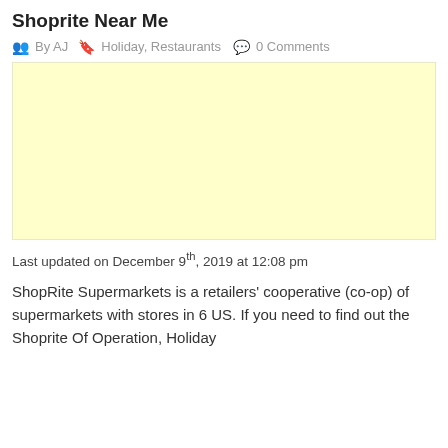Shoprite Near Me
By AJ  Holiday, Restaurants  0 Comments
[Figure (other): Yellow/cream colored advertisement placeholder box]
Last updated on December 9th, 2019 at 12:08 pm
ShopRite Supermarkets is a retailers' cooperative (co-op) of supermarkets with stores in 6 US. If you need to find out the Shoprite Of Operation, Holiday